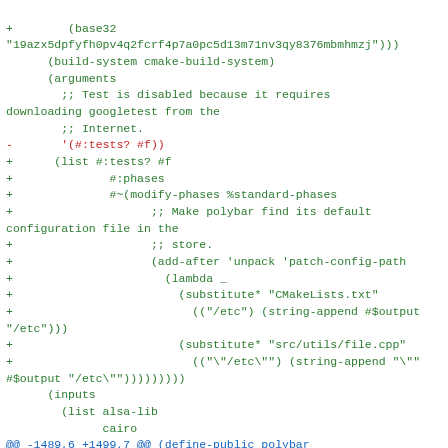Code diff showing modifications to a Guix package definition for polybar, including build system arguments, phase modifications for config path patching, and input library updates.